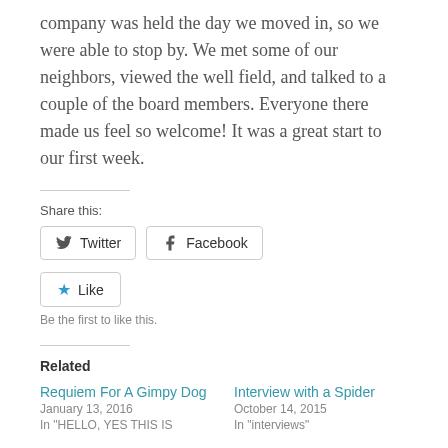company was held the day we moved in, so we were able to stop by.  We met some of our neighbors, viewed the well field, and talked to a couple of the board members.  Everyone there made us feel so welcome!  It was a great start to our first week.
Share this:
Twitter  Facebook
Like  Be the first to like this.
Related
Requiem For A Gimpy Dog
January 13, 2016
In "HELLO, YES THIS IS
Interview with a Spider
October 14, 2015
In "interviews"